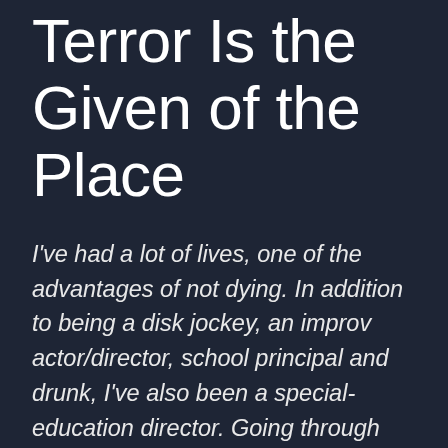Terror Is the Given of the Place
I've had a lot of lives, one of the advantages of not dying. In addition to being a disk jockey, an improv actor/director, school principal and drunk, I've also been a special-education director. Going through some files the other day, I came upon the following essay, written during that period, on the challenges of diagnosing students with emotional and